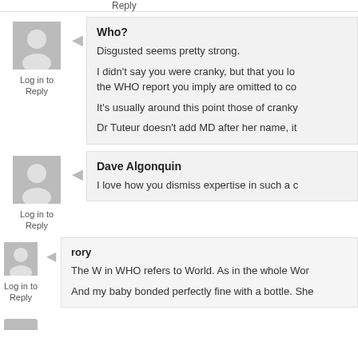Reply
Who?
Disgusted seems pretty strong.
I didn't say you were cranky, but that you lo... the WHO report you imply are omitted to co...
It's usually around this point those of cranky...
Dr Tuteur doesn't add MD after her name, it...
Log in to Reply
Dave Algonquin
I love how you dismiss expertise in such a c...
Log in to Reply
rory
The W in WHO refers to World. As in the whole Wor...
And my baby bonded perfectly fine with a bottle. She...
Log in to Reply